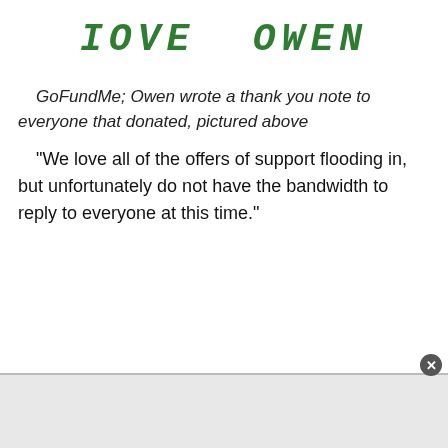[Figure (photo): Handwritten text in green marker reading 'IOVE OWEN' (child's handwriting for LOVE OWEN)]
GoFundMe; Owen wrote a thank you note to everyone that donated, pictured above
“We love all of the offers of support flooding in, but unfortunately do not have the bandwidth to reply to everyone at this time.”
[Figure (other): Advertisement bar at the bottom of the page with a close button (x)]